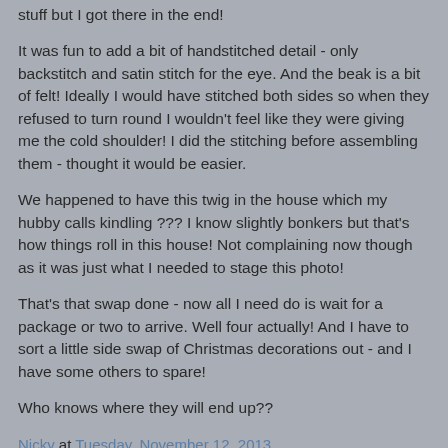stuff but I got there in the end!
It was fun to add a bit of handstitched detail - only backstitch and satin stitch for the eye.  And the beak is a bit of felt!  Ideally I would have stitched both sides so when they refused to turn round I wouldn't feel like they were giving me the cold shoulder!   I did the stitching before assembling them - thought it would be easier.
We happened to have this twig in the house which my hubby calls kindling ??? I know slightly bonkers but that's how things roll in this house!   Not complaining now though as it was just what I needed to stage this photo!
That's that swap done - now all I need do is wait for a package or two to arrive.   Well four actually!   And I have to sort a little side swap of Christmas decorations out - and I have some others to spare!
Who knows where they will end up??
Nicky at Tuesday, November 12, 2013